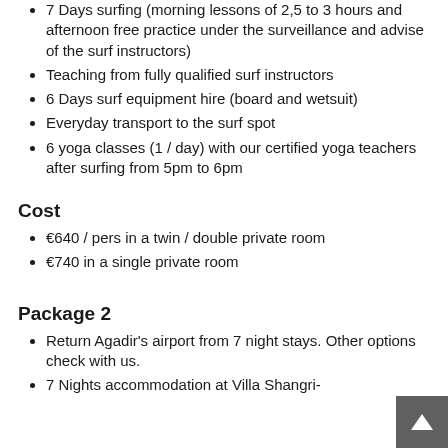7 Days surfing (morning lessons of 2,5 to 3 hours and afternoon free practice under the surveillance and advise of the surf instructors)
Teaching from fully qualified surf instructors
6 Days surf equipment hire (board and wetsuit)
Everyday transport to the surf spot
6 yoga classes (1 / day) with our certified yoga teachers after surfing from 5pm to 6pm
Cost
€640 / pers in a twin / double private room
€740 in a single private room
Package 2
Return Agadir's airport from 7 night stays. Other options check with us.
7 Nights accommodation at Villa Shangri-